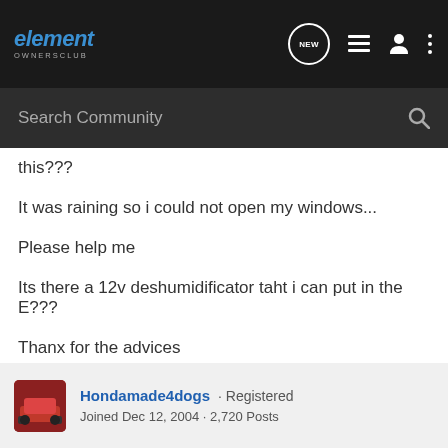element OWNERSCLUB
Search Community
this???
It was raining so i could not open my windows...
Please help me
Its there a 12v deshumidificator taht i can put in the E???
Thanx for the advices
Hondamade4dogs · Registered
Joined Dec 12, 2004 · 2,720 Posts